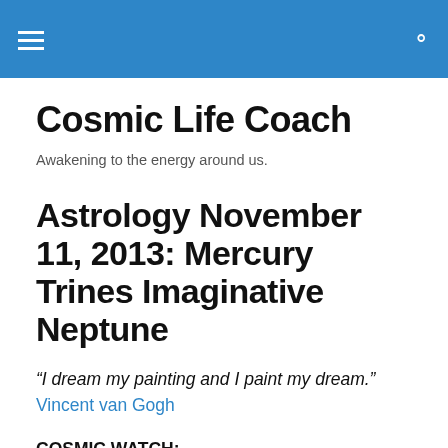≡  🔍
Cosmic Life Coach
Awakening to the energy around us.
Astrology November 11, 2013: Mercury Trines Imaginative Neptune
“I dream my painting and I paint my dream.” Vincent van Gogh
COSMIC WATCH:
All too often, in the course of leading our hectic, daily lives,